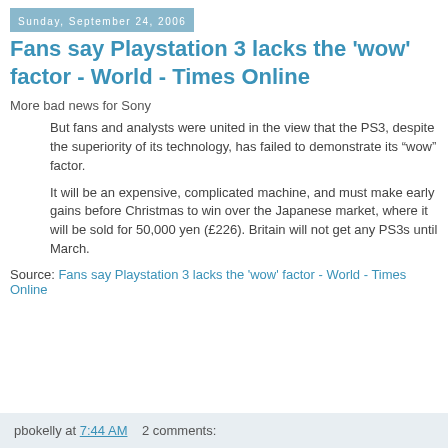Sunday, September 24, 2006
Fans say Playstation 3 lacks the 'wow' factor - World - Times Online
More bad news for Sony
But fans and analysts were united in the view that the PS3, despite the superiority of its technology, has failed to demonstrate its “wow” factor.
It will be an expensive, complicated machine, and must make early gains before Christmas to win over the Japanese market, where it will be sold for 50,000 yen (£226). Britain will not get any PS3s until March.
Source: Fans say Playstation 3 lacks the 'wow' factor - World - Times Online
pbokelly at 7:44 AM    2 comments: